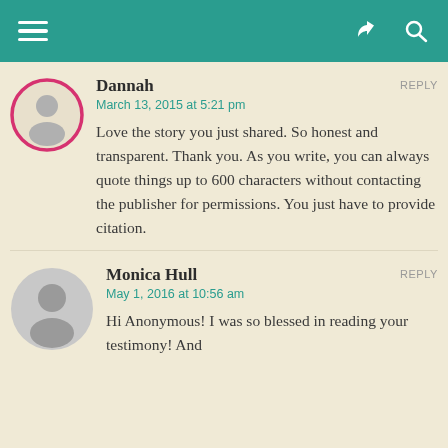Dannah
March 13, 2015 at 5:21 pm
Love the story you just shared. So honest and transparent. Thank you. As you write, you can always quote things up to 600 characters without contacting the publisher for permissions. You just have to provide citation.
Monica Hull
May 1, 2016 at 10:56 am
Hi Anonymous! I was so blessed in reading your testimony! And